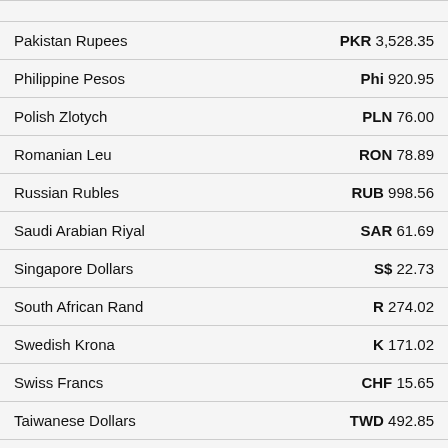| Currency | Amount |
| --- | --- |
| Pakistan Rupees | PKR 3,528.35 |
| Philippine Pesos | Phi 920.95 |
| Polish Zlotych | PLN 76.00 |
| Romanian Leu | RON 78.89 |
| Russian Rubles | RUB 998.56 |
| Saudi Arabian Riyal | SAR 61.69 |
| Singapore Dollars | S$ 22.73 |
| South African Rand | R 274.02 |
| Swedish Krona | K 171.02 |
| Swiss Francs | CHF 15.65 |
| Taiwanese Dollars | TWD 492.85 |
| Thai Baht | THB 583.61 |
| Trinidad and Tobago Dollars | TTD 111.62 |
| United Kingdom Pounds | £ 13.66 |